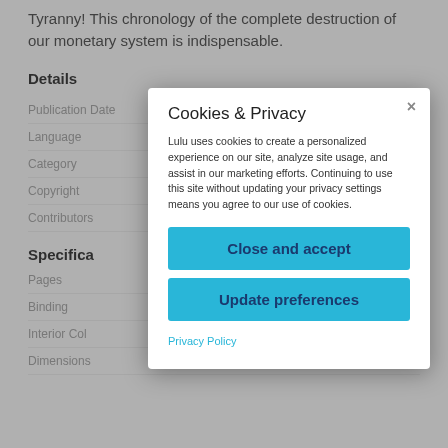Tyranny! This chronology of the complete destruction of our monetary system is indispensable.
Details
|  |  |
| --- | --- |
| Publication Date | Sep 7, 2010 |
| Language | English |
| Category |  |
| Copyright | ...ard |
| Contributors |  |
Specifications
|  |  |
| --- | --- |
| Pages |  |
| Binding |  |
| Interior Colors |  |
| Dimensions | ...279 |
[Figure (screenshot): Cookies & Privacy modal dialog overlay. Title: 'Cookies & Privacy'. Body text: 'Lulu uses cookies to create a personalized experience on our site, analyze site usage, and assist in our marketing efforts. Continuing to use this site without updating your privacy settings means you agree to our use of cookies.' Two blue buttons: 'Close and accept' and 'Update preferences'. A 'Privacy Policy' link below.]